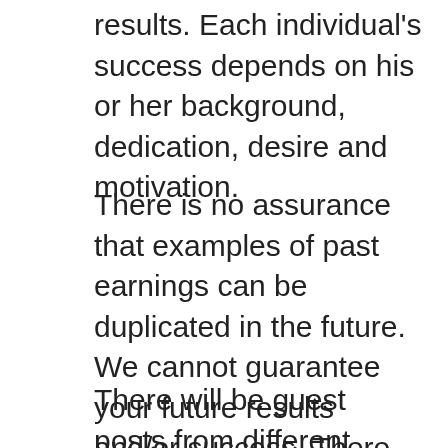results. Each individual's success depends on his or her background, dedication, desire and motivation.
There is no assurance that examples of past earnings can be duplicated in the future. We cannot guarantee your future results and/or success. There are some unknown risks in business and on the internet that we cannot foresee which could reduce results you experience. We are not responsible for your actions.
There will be guest posts from different authors with their own product experiences. Authors have their own views